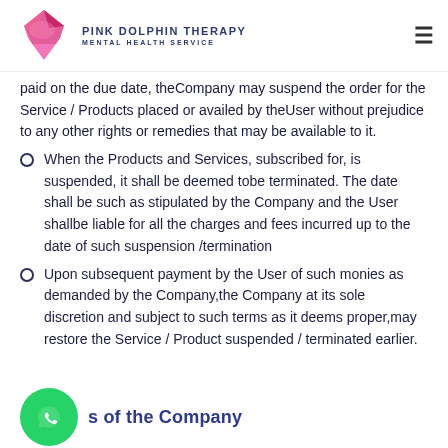PINK DOLPHIN THERAPY MENTAL HEALTH SERVICE
paid on the due date, theCompany may suspend the order for the Service / Products placed or availed by theUser without prejudice to any other rights or remedies that may be available to it.
When the Products and Services, subscribed for, is suspended, it shall be deemed tobe terminated. The date shall be such as stipulated by the Company and the User shallbe liable for all the charges and fees incurred up to the date of such suspension /termination
Upon subsequent payment by the User of such monies as demanded by the Company,the Company at its sole discretion and subject to such terms as it deems proper,may restore the Service / Product suspended / terminated earlier.
s of the Company